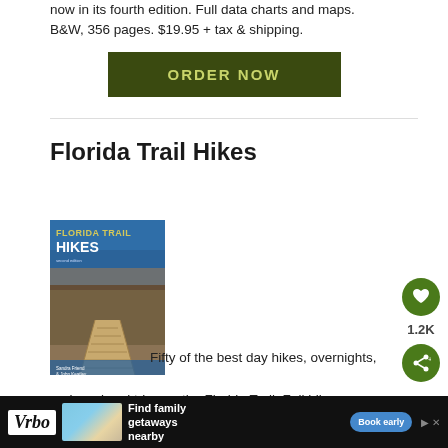now in its fourth edition. Full data charts and maps. B&W, 356 pages. $19.95 + tax & shipping.
[Figure (other): Dark olive green ORDER NOW button]
Florida Trail Hikes
[Figure (photo): Book cover of Florida Trail Hikes showing a wooden boardwalk through mangroves with blue sky]
Fifty of the best day hikes, overnights, and weekend trips on the Florida Trail. Full hike...